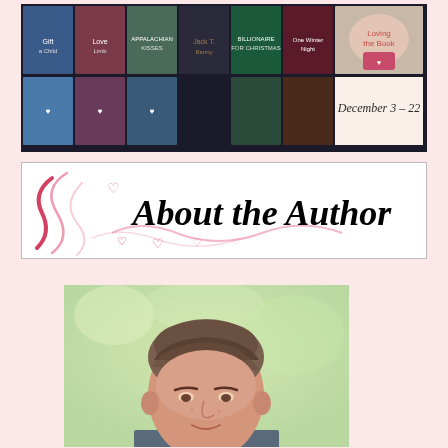[Figure (illustration): Banner image showing a collage of book covers for a Christmas/winter romance book promotion, with text 'Loving the Book' and 'December 3 - 22' visible on the right side.]
[Figure (illustration): Decorative banner reading 'About the Author' in bold italic black text on white background with red/pink heart and ribbon decorative elements on the left side.]
[Figure (photo): Portrait photo of a middle-aged man with short brown/grey hair, light complexion, photographed outdoors with a blurred green/light background.]